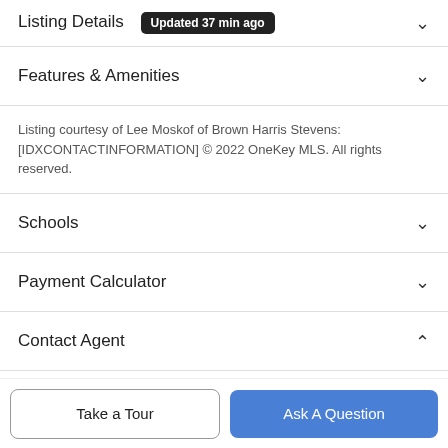Listing Details Updated 37 min ago
Features & Amenities
Listing courtesy of Lee Moskof of Brown Harris Stevens: [IDXCONTACTINFORMATION] © 2022 OneKey MLS. All rights reserved.
Schools
Payment Calculator
Contact Agent
[Figure (photo): Agent profile photo, partially visible]
Take a Tour
Ask A Question